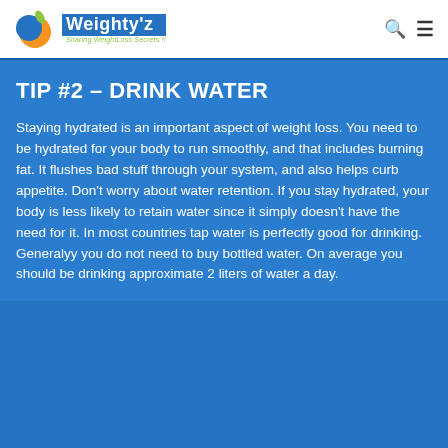Weighty'z — Sharing WeightLoss Secrets !!
TIP #2 – DRINK WATER
Staying hydrated is an important aspect of weight loss. You need to be hydrated for your body to run smoothly, and that includes burning fat. It flushes bad stuff through your system, and also helps curb appetite. Don't worry about water retention. If you stay hydrated, your body is less likely to retain water since it simply doesn't have the need for it. In most countries tap water is perfectly good for drinking. Generalyy you do not need to buy bottled water. On average you should be drinking approximate 2 liters of water a day.